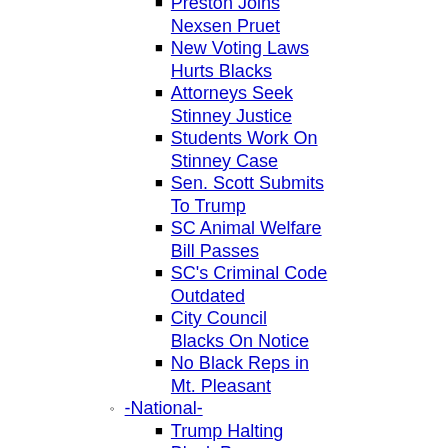Preston Joins Nexsen Pruet
New Voting Laws Hurts Blacks
Attorneys Seek Stinney Justice
Students Work On Stinney Case
Sen. Scott Submits To Trump
SC Animal Welfare Bill Passes
SC's Criminal Code Outdated
City Council Blacks On Notice
No Black Reps in Mt. Pleasant
-National-
Trump Halting Black Progress
The Toll of Money Bail Report
New PACs Focusing on Blacks